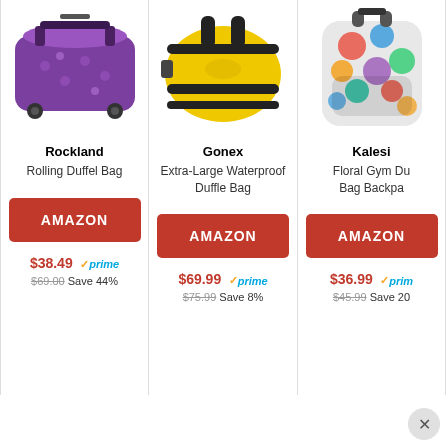[Figure (photo): Purple rolling duffel bag with paisley pattern and wheels]
Rockland
Rolling Duffel Bag
AMAZON
$38.49 prime $69.00 Save 44%
[Figure (photo): Yellow waterproof duffle bag]
Gonex
Extra-Large Waterproof Duffle Bag
AMAZON
$69.99 prime $75.99 Save 8%
[Figure (photo): Colorful floral gym duffel bag backpack]
Kalesi
Floral Gym Du... Bag Backpa...
AMAZON
$36.99 prime $45.99 Save 20%